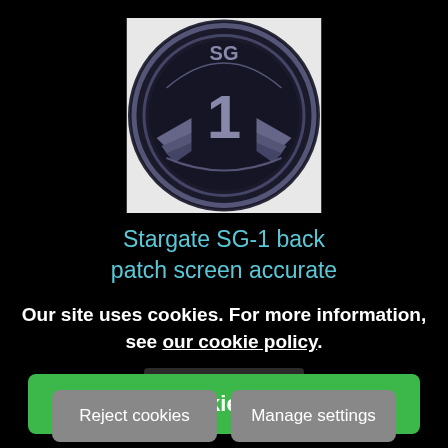[Figure (logo): Stargate SG-1 circular patch badge in black and grey, with 'SG' at top and large '1' in center with wing motif]
Stargate SG-1 back patch screen accurate
Our site uses cookies. For more information, see our cookie policy.
VIEW DETAILS
Accept cookies and close
Reject cookies
Manage settings